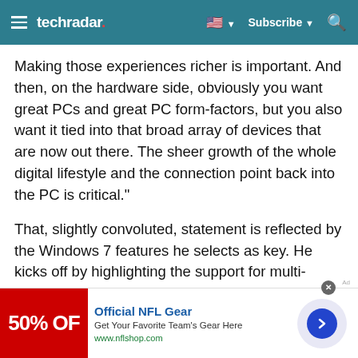techradar | Subscribe
Making those experiences richer is important. And then, on the hardware side, obviously you want great PCs and great PC form-factors, but you also want it tied into that broad array of devices that are now out there. The sheer growth of the whole digital lifestyle and the connection point back into the PC is critical."
That, slightly convoluted, statement is reflected by the Windows 7 features he selects as key. He kicks off by highlighting the support for multi-touch, then continues with: "One of the things that people will see when they first interact with Windows 7 is that we've streamlined and simplified the user interface, and it's
[Figure (infographic): Advertisement banner for Official NFL Gear showing a red banner with '50% OFF' text, NFL gear promotion with blue arrow button and nflshop.com URL]